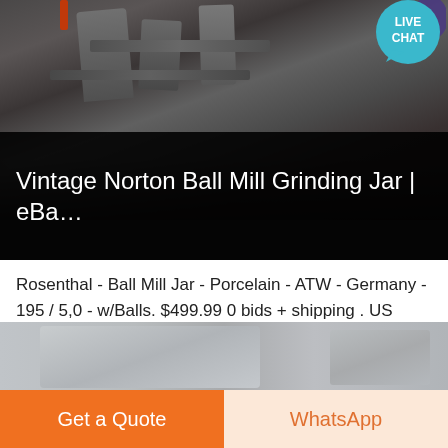[Figure (screenshot): Screenshot of an eBay listing page for Vintage Norton Ball Mill Grinding Jar showing machinery image at top with dark overlay title bar, live chat bubble in top right corner]
Vintage Norton Ball Mill Grinding Jar | eBa…
Rosenthal - Ball Mill Jar - Porcelain - ATW - Germany - 195 / 5,0 - w/Balls. $499.99 0 bids + shipping . US Stoneware Oww34. 4-00 Uss Tumbling Jar for Grinding & Pulverizing. $100.00 0 bids. Free shipping . Picture Information. Opens image gallery. Image not available. Mouse over to Zoom- ...
Get More
[Figure (photo): Partial bottom image strip showing gray/blue industrial objects]
Get a Quote
WhatsApp